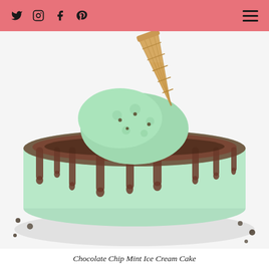Social media navigation header with Twitter, Instagram, Facebook, Pinterest icons and hamburger menu
[Figure (photo): A mint chocolate chip ice cream cake with chocolate ganache drip on the sides, cookie crumble on top, a scoop of mint green ice cream in the center, and an upside-down waffle cone sticking out of the top. The cake sits on a white plate.]
Chocolate Chip Mint Ice Cream Cake